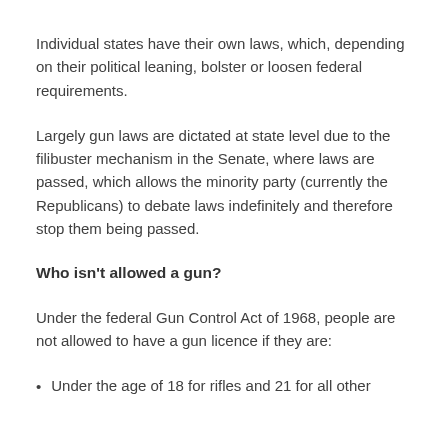Individual states have their own laws, which, depending on their political leaning, bolster or loosen federal requirements.
Largely gun laws are dictated at state level due to the filibuster mechanism in the Senate, where laws are passed, which allows the minority party (currently the Republicans) to debate laws indefinitely and therefore stop them being passed.
Who isn't allowed a gun?
Under the federal Gun Control Act of 1968, people are not allowed to have a gun licence if they are:
Under the age of 18 for rifles and 21 for all other